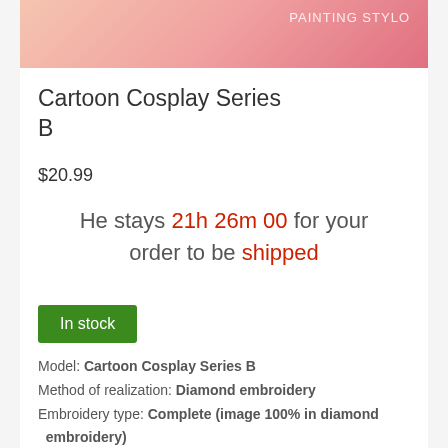[Figure (photo): Product image with peach/pink gradient background and text 'PAINTING STYLO' in white]
Cartoon Cosplay Series B
$20.99
He stays 21h 26m 00 for your order to be shipped
In stock
Model: Cartoon Cosplay Series B
Method of realization: Diamond embroidery
Embroidery type: Complete (image 100% in diamond embroidery)